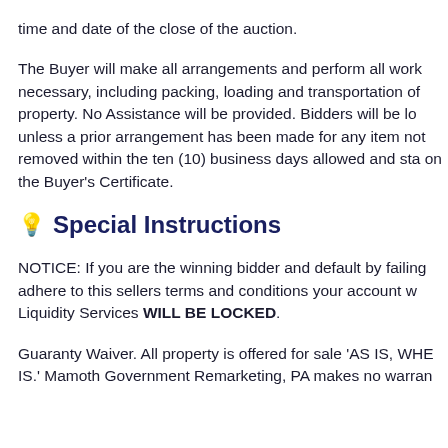time and date of the close of the auction.
The Buyer will make all arrangements and perform all work necessary, including packing, loading and transportation of property. No Assistance will be provided. Bidders will be lo unless a prior arrangement has been made for any item not removed within the ten (10) business days allowed and sta on the Buyer's Certificate.
Special Instructions
NOTICE: If you are the winning bidder and default by failing adhere to this sellers terms and conditions your account w Liquidity Services WILL BE LOCKED.
Guaranty Waiver. All property is offered for sale 'AS IS, WHE IS.' Mamoth Government Remarketing, PA makes no warran